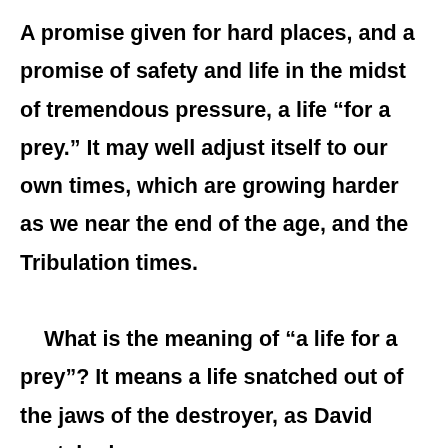A promise given for hard places, and a promise of safety and life in the midst of tremendous pressure, a life “for a prey.” It may well adjust itself to our own times, which are growing harder as we near the end of the age, and the Tribulation times.

    What is the meaning of “a life for a prey”? It means a life snatched out of the jaws of the destroyer, as David snatched